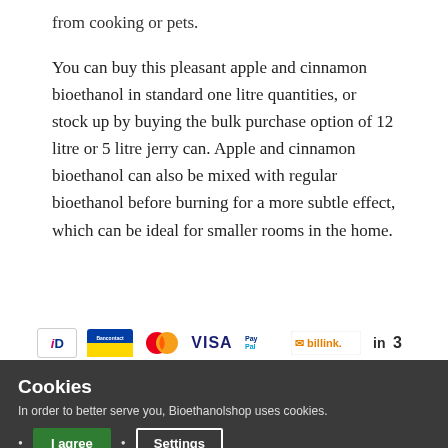from cooking or pets.
You can buy this pleasant apple and cinnamon bioethanol in standard one litre quantities, or stock up by buying the bulk purchase option of 12 litre or 5 litre jerry can. Apple and cinnamon bioethanol can also be mixed with regular bioethanol before burning for a more subtle effect, which can be ideal for smaller rooms in the home.
[Figure (other): Payment method logos: iDEAL, Bancontact, Mastercard, VISA, PayPal, Billink, in3]
Cookies
In order to better serve you, Bioethanolshop uses cookies.
I agree  Settings